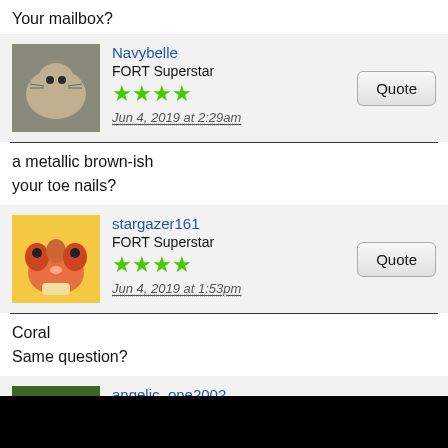Your mailbox?
Navybelle
FORT Superstar
★★★★
Jun 4, 2019 at 2:29am
a metallic brown-ish
your toe nails?
stargazer161
FORT Superstar
★★★★
Jun 4, 2019 at 1:53pm
Coral
Same question?
angelic_one2002
FORT Fogey
★★★★